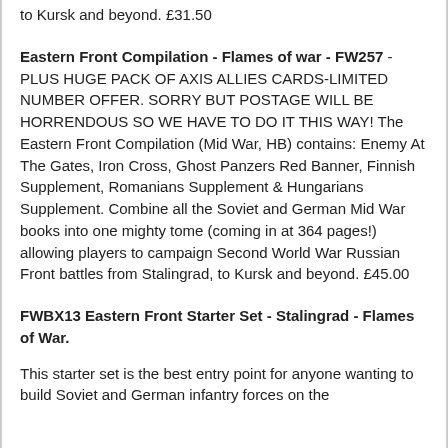to Kursk and beyond. £31.50
Eastern Front Compilation - Flames of war - FW257 - PLUS HUGE PACK OF AXIS ALLIES CARDS-LIMITED NUMBER OFFER. SORRY BUT POSTAGE WILL BE HORRENDOUS SO WE HAVE TO DO IT THIS WAY! The Eastern Front Compilation (Mid War, HB) contains: Enemy At The Gates, Iron Cross, Ghost Panzers Red Banner, Finnish Supplement, Romanians Supplement & Hungarians Supplement. Combine all the Soviet and German Mid War books into one mighty tome (coming in at 364 pages!) allowing players to campaign Second World War Russian Front battles from Stalingrad, to Kursk and beyond. £45.00
FWBX13 Eastern Front Starter Set - Stalingrad - Flames of War.
This starter set is the best entry point for anyone wanting to build Soviet and German infantry forces on the